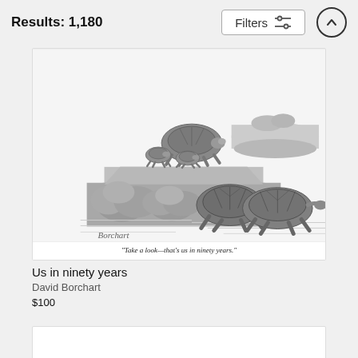Results: 1,180
[Figure (illustration): New Yorker-style cartoon showing tortoises on a rocky landscape. An adult tortoise stands on a rocky ledge with two small tortoises, looking toward two elderly tortoises in the foreground. Signed 'Borchart'. Caption: "Take a look—that's us in ninety years."]
"Take a look—that’s us in ninety years."
Us in ninety years
David Borchart
$100